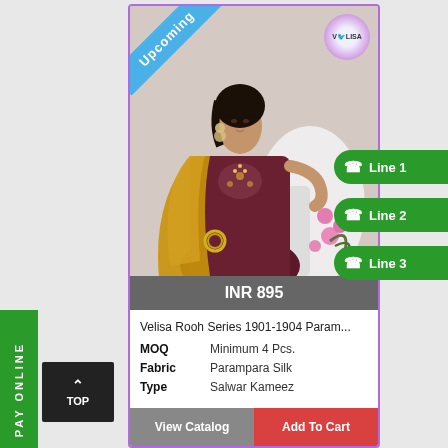[Figure (photo): Fashion model wearing dark maroon/burgundy salwar kameez with golden/mustard dupatta and floral embroidery, seated against white decor with pink flowers. 'Upcoming' ribbon in blue diagonal at top-left. Velisa brand logo circle at top-right.]
INR 895
Velisa Rooh Series 1901-1904 Param...
MOQ    Minimum 4 Pcs.
Fabric    Parampara Silk
Type    Salwar Kameez
View Catalog
Add To Cart
Line 1
Line 2
Line 3
PAY ONLINE
TOP